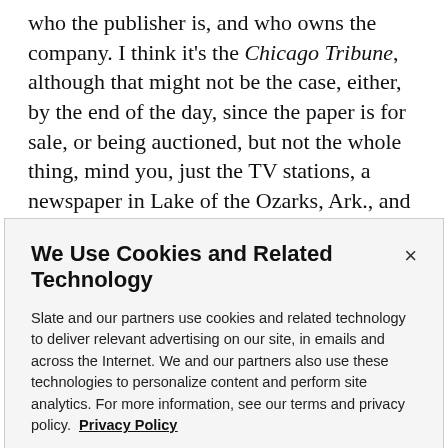who the publisher is, and who owns the company. I think it's the Chicago Tribune, although that might not be the case, either, by the end of the day, since the paper is for sale, or being auctioned, but not the whole thing, mind you, just the TV stations, a newspaper in Lake of the Ozarks, Ark., and an avocado ranch somewhere south of Bakersfield, Calif., which was started by Gen. Harrison Gray Otis, an early publisher, and which now appears to be the only profitable part of the entire enterprise.
We Use Cookies and Related Technology
Slate and our partners use cookies and related technology to deliver relevant advertising on our site, in emails and across the Internet. We and our partners also use these technologies to personalize content and perform site analytics. For more information, see our terms and privacy policy. Privacy Policy
OK